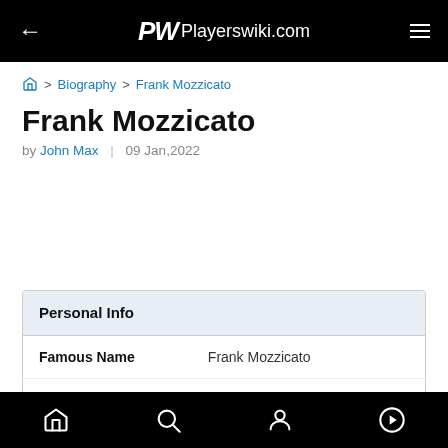Playerswiki.com
Home > Biography > Frank Mozzicato
Frank Mozzicato
by John Max | 09 Jan,2022
|  |  |
| --- | --- |
| Famous Name | Frank Mozzicato |
| Country | United States US |
Home | Search | Profile | Play